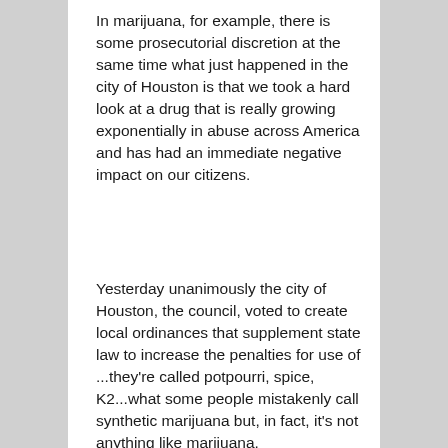In marijuana, for example, there is some prosecutorial discretion at the same time what just happened in the city of Houston is that we took a hard look at a drug that is really growing exponentially in abuse across America and has had an immediate negative impact on our citizens.
Yesterday unanimously the city of Houston, the council, voted to create local ordinances that supplement state law to increase the penalties for use of ...they're called potpourri, spice, K2...what some people mistakenly call synthetic marijuana but, in fact, it's not anything like marijuana.